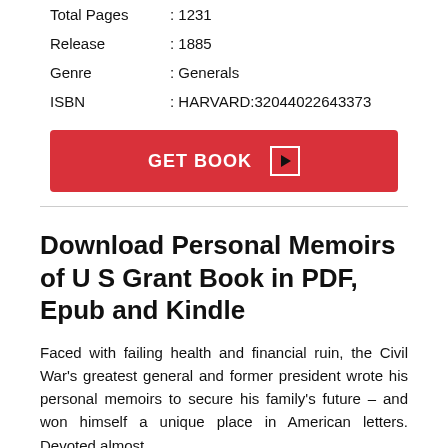| Total Pages | : 1231 |
| Release | : 1885 |
| Genre | : Generals |
| ISBN | : HARVARD:32044022643373 |
[Figure (other): Red 'GET BOOK' button with play icon]
Download Personal Memoirs of U S Grant Book in PDF, Epub and Kindle
Faced with failing health and financial ruin, the Civil War's greatest general and former president wrote his personal memoirs to secure his family's future – and won himself a unique place in American letters. Devoted almost